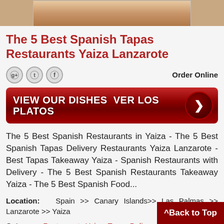[Figure (photo): Top portion of a food/restaurant image cropped at top]
The 5 Best Spanish Tapas Restaurants Yaiza Lanzarote
[Figure (infographic): Social media icons (Google+, Twitter, Facebook) on left, 'Order Online' text on right, and a large red button saying 'VIEW OUR DISHES  VER LOS PLATOS' with a right arrow]
The 5 Best Spanish Restaurants in Yaiza - The 5 Best Spanish Tapas Delivery Restaurants Yaiza Lanzarote - Best Tapas Takeaway Yaiza - Spanish Restaurants with Delivery - The 5 Best Spanish Restaurants Takeaway Yaiza - The 5 Best Spanish Food...
Location:  Spain >> Canary Islands>> Las Palmas >> Lanzarote >> Yaiza
Category:  Restaurants Yaiza, Tapas Delivery Restaurants Lanzarote
Hits: 244638